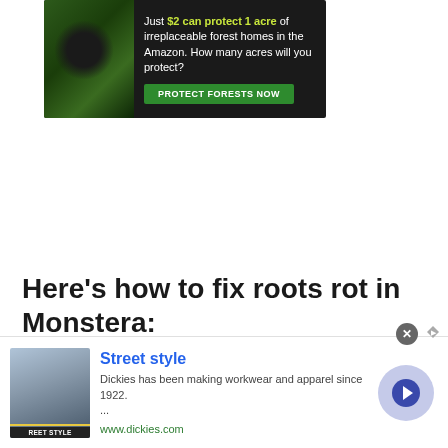[Figure (other): Advertisement banner for forest protection: 'Just $2 can protect 1 acre of irreplaceable forest homes in the Amazon. How many acres will you protect?' with a green 'PROTECT FORESTS NOW' button and a dark background with forest imagery.]
Here's how to fix roots rot in Monstera:
Assess the damage: Check for black
[Figure (other): Advertisement banner for Dickies Street Style: 'Dickies has been making workwear and apparel since 1922. ... www.dickies.com' with a fashion photo, blue title text, and a circular arrow button.]